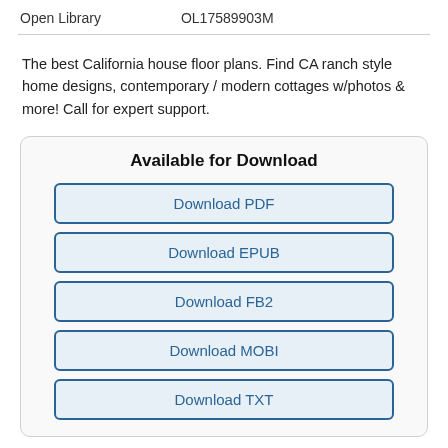Open Library    OL17589903M
The best California house floor plans. Find CA ranch style home designs, contemporary / modern cottages w/photos & more! Call for expert support.
Available for Download
Download PDF
Download EPUB
Download FB2
Download MOBI
Download TXT